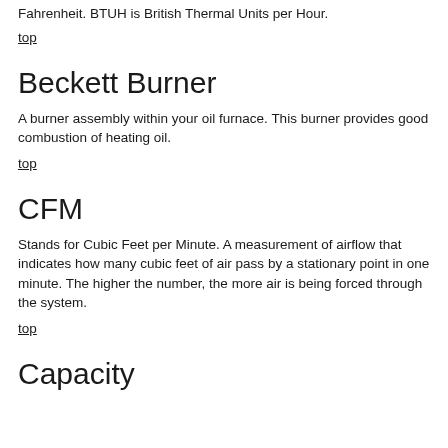Fahrenheit. BTUH is British Thermal Units per Hour.
top
Beckett Burner
A burner assembly within your oil furnace. This burner provides good combustion of heating oil.
top
CFM
Stands for Cubic Feet per Minute. A measurement of airflow that indicates how many cubic feet of air pass by a stationary point in one minute. The higher the number, the more air is being forced through the system.
top
Capacity